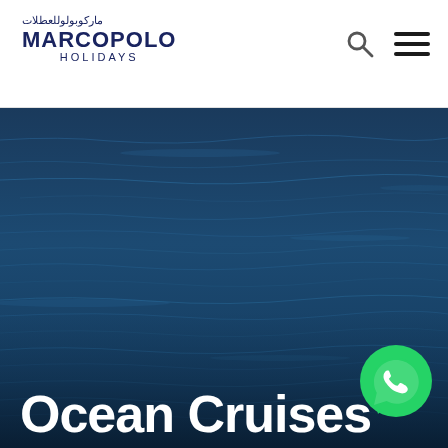Marcopolo Holidays — logo with Arabic text and navigation icons
[Figure (photo): Aerial/close-up view of deep blue ocean water with gentle rippling waves filling the background]
[Figure (logo): WhatsApp green circular chat button in bottom-right corner]
Ocean Cruises